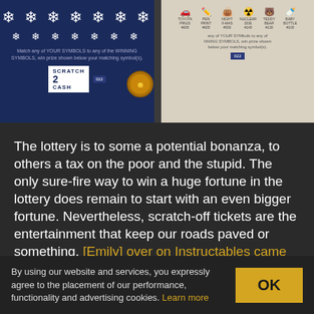[Figure (photo): Two scratch-off lottery tickets side by side. Left ticket has a dark blue background with snowflake symbols and 'SCRATCH 2 CASH' text. Right ticket shows various icons including a car, umbrella, nuclear symbol, teddy bear, and baby bottle on a light beige background, with a penny coin overlaid.]
The lottery is to some a potential bonanza, to others a tax on the poor and the stupid. The only sure-fire way to win a huge fortune in the lottery does remain to start with an even bigger fortune. Nevertheless, scratch-off tickets are the entertainment that keep our roads paved or something. [Emily] over on Instructables came up with a way to create your own scratch-off cards, and the process is fascinating.
By using our website and services, you expressly agree to the placement of our performance, functionality and advertising cookies. Learn more
OK